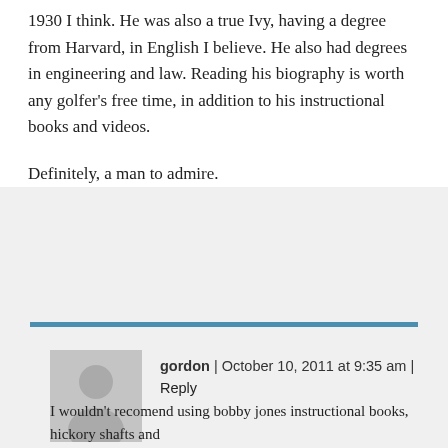1930 I think. He was also a true Ivy, having a degree from Harvard, in English I believe. He also had degrees in engineering and law. Reading his biography is worth any golfer's free time, in addition to his instructional books and videos.
Definitely, a man to admire.
[Figure (illustration): Generic user avatar placeholder — grey square with silhouette of a person (circle head, rounded-rectangle body)]
gordon | October 10, 2011 at 9:35 am | Reply
I wouldn't recomend using bobby jones instructional books, hickory shafts and